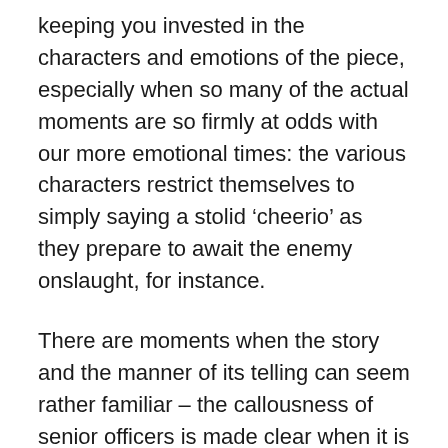keeping you invested in the characters and emotions of the piece, especially when so many of the actual moments are so firmly at odds with our more emotional times: the various characters restrict themselves to simply saying a stolid 'cheerio' as they prepare to await the enemy onslaught, for instance.
There are moments when the story and the manner of its telling can seem rather familiar – the callousness of senior officers is made clear when it is established the raid is to take place in daylight, when it is horrendously dangerous, simply because this is less likely to interfere with the dinner plans of the generals who will be considering the intelligence it provides – but on the whole this is a film which manages to feel contemporary and relevant rather than something too dry or retrospective. Mostly this is because of the quality of the performances, which are